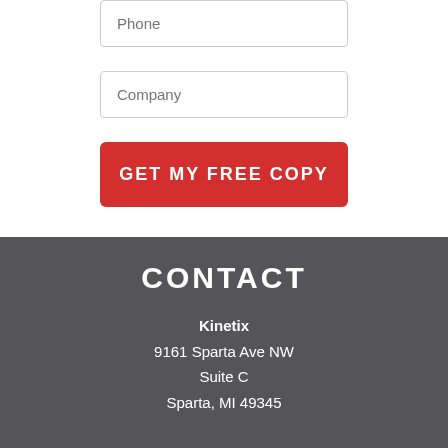Phone
Company
GET MY FREE COPY
CONTACT
Kinetix
9161 Sparta Ave NW
Suite C
Sparta, MI 49345
Phone: 616-887-5689
42000 Koppernick